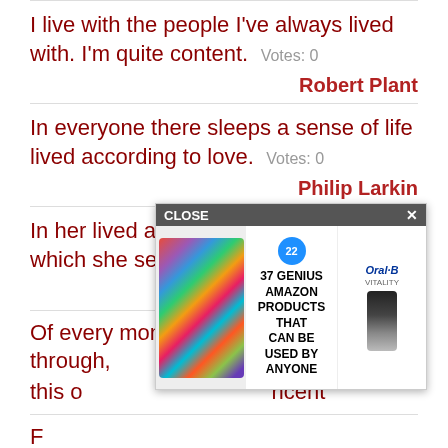I live with the people I've always lived with. I'm quite content.  Votes: 0
Robert Plant
In everyone there sleeps a sense of life lived according to love.  Votes: 0
Philip Larkin
In her lived an innocence of soul of which she seemed unaware.  Votes: 0
Nalini Singh
Of every moment I've ever not-lived through, this o...ncent
[Figure (screenshot): Advertisement overlay showing colorful scrunchies, '37 GENIUS AMAZON PRODUCTS THAT CAN BE USED BY ANYONE' text with badge '22', and Oral-B Vitality product image, with a CLOSE bar at top]
E...